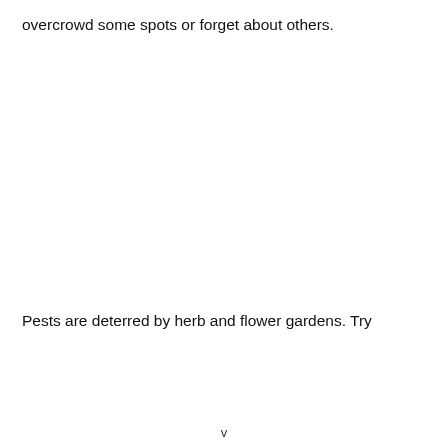overcrowd some spots or forget about others.
Pests are deterred by herb and flower gardens. Try
v